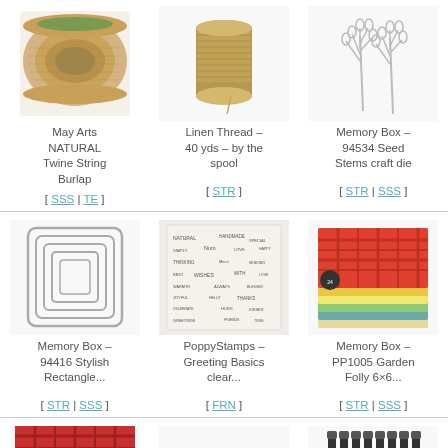[Figure (photo): Spool of natural burlap twine/string thread]
May Arts NATURAL Twine String Burlap
[ SSS | TE ]
[Figure (photo): Spool of linen thread]
Linen Thread – 40 yds – by the spool
[ STR ]
[Figure (photo): Two decorative seed stem craft die cuts]
Memory Box – 94534 Seed Stems craft die
[ STR | SSS ]
[Figure (photo): Memory Box stylish rectangle die set]
Memory Box – 94416 Stylish Rectangle...
[ STR | SSS ]
[Figure (photo): PoppyStamps greeting basics clear stamp set with text]
PoppyStamps – Greeting Basics clear...
[ FRN ]
[Figure (photo): Memory Box Garden Folly 6x6 paper pack]
Memory Box – PP1005 Garden Folly 6×6...
[ STR | SSS ]
[Figure (photo): Partial view of colorful patterned paper or product]
[Figure (photo): Partial view of dark colored bottles or tools]